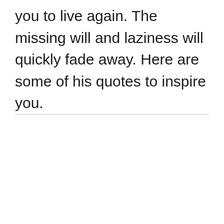you to live again. The missing will and laziness will quickly fade away. Here are some of his quotes to inspire you.